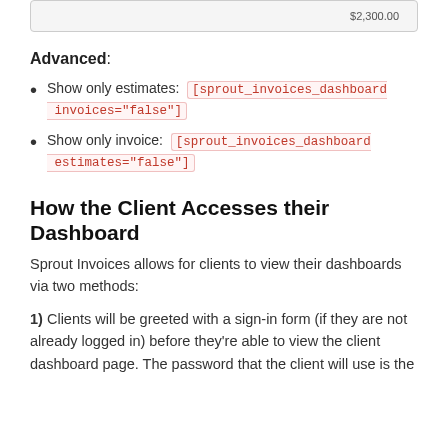[Figure (screenshot): Partial screenshot strip showing an invoice amount, partially cropped at top of page]
Advanced:
Show only estimates: [sprout_invoices_dashboard invoices="false"]
Show only invoice: [sprout_invoices_dashboard estimates="false"]
How the Client Accesses their Dashboard
Sprout Invoices allows for clients to view their dashboards via two methods:
1) Clients will be greeted with a sign-in form (if they are not already logged in) before they're able to view the client dashboard page. The password that the client will use is the